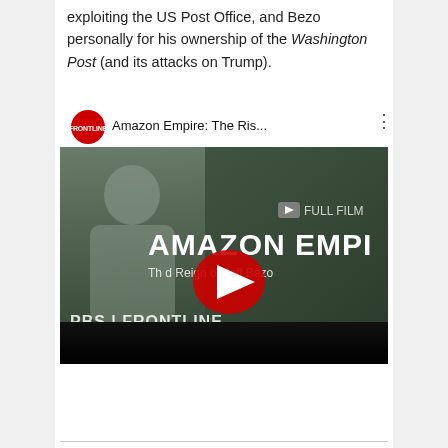exploiting the US Post Office, and Bezo personally for his ownership of the Washington Post (and its attacks on Trump).
[Figure (screenshot): YouTube video thumbnail for 'Amazon Empire: The Rise and Reign of Jeff Bezos' by PBS Frontline. Shows Jeff Bezos portrait on dark green background with YouTube play button overlay, Frontline logo in top bar, 'FULL FILM' text, 'AMAZON EMPIRE' large text, 'PBS | FRONTLINE' lower left.]